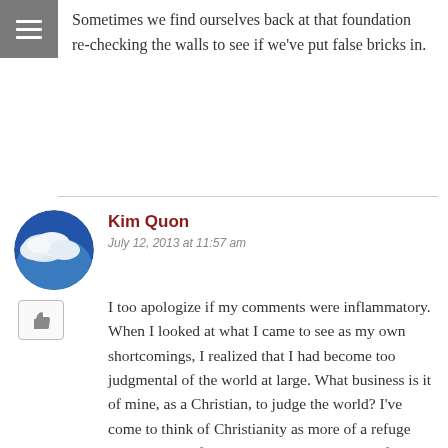Sometimes we find ourselves back at that foundation re-checking the walls to see if we've put false bricks in.
Kim Quon
July 12, 2013 at 11:57 am
I too apologize if my comments were inflammatory. When I looked at what I came to see as my own shortcomings, I realized that I had become too judgmental of the world at large. What business is it of mine, as a Christian, to judge the world? I've come to think of Christianity as more of a refuge and sanctuary from the world. A place that, if sought, will be found as opposed to the unrelenting political, evangelical tide.